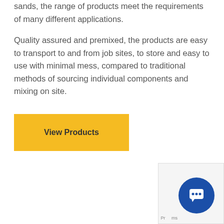sands, the range of products meet the requirements of many different applications.
Quality assured and premixed, the products are easy to transport to and from job sites, to store and easy to use with minimal mess, compared to traditional methods of sourcing individual components and mixing on site.
[Figure (other): Yellow 'View Products' button]
[Figure (other): Blue circular chat widget button with speech bubble icon in bottom right corner, overlapping a light grey panel with partial text 'Pr...ms']